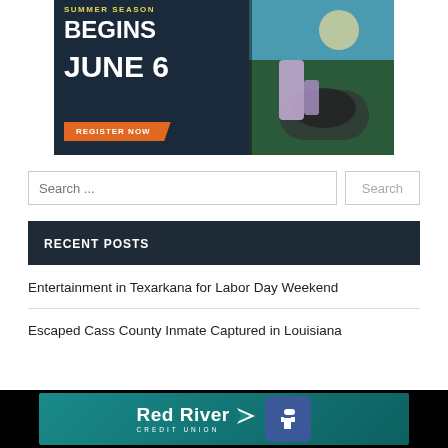[Figure (photo): Advertisement banner: Summer Season Begins June 6 - Register Now, with photo of child flipping a tire]
Search ...
RECENT POSTS
Entertainment in Texarkana for Labor Day Weekend
Escaped Cass County Inmate Captured in Louisiana
[Figure (logo): Red River Credit Union Facebook advertisement banner]